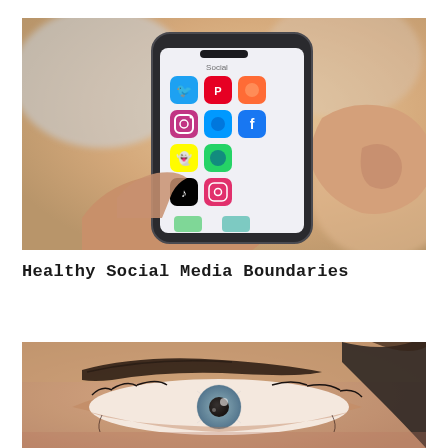[Figure (photo): Close-up photo of two hands holding a smartphone displaying a social media app folder with icons including Twitter, Pinterest, Instagram, Snapchat, TikTok, Facebook, and other social media apps. A finger is tapping the screen. Background is blurred warm tones.]
Healthy Social Media Boundaries
[Figure (photo): Close-up photo of a woman's eye and eyebrow, looking upward. Dark hair visible on the right side. The image is cropped tightly showing the eye area in detail.]